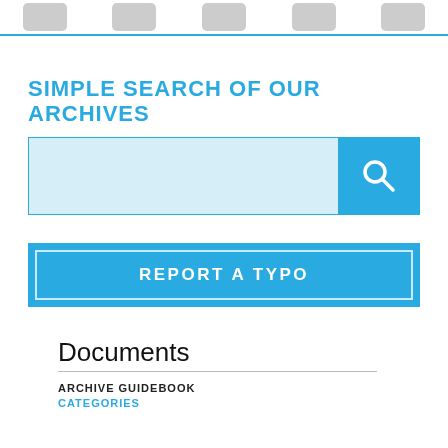[navigation icons]
SIMPLE SEARCH OF OUR ARCHIVES
[Figure (other): Search bar with light blue input field and teal search button with magnifying glass icon]
[Figure (other): Teal button with white border inside reading REPORT A TYPO]
Documents
ARCHIVE GUIDEBOOK
CATEGORIES